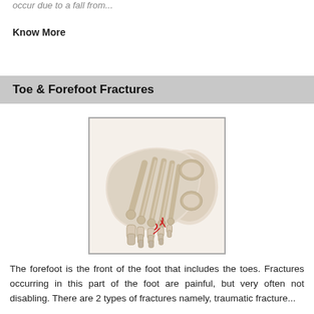occur due to a fall from...
Know More
Toe & Forefoot Fractures
[Figure (illustration): Medical illustration of a human forefoot and toes showing bone structure with red fracture marks on the smaller toe bones]
The forefoot is the front of the foot that includes the toes. Fractures occurring in this part of the foot are painful, but very often not disabling. There are 2 types of fractures namely, traumatic fracture...